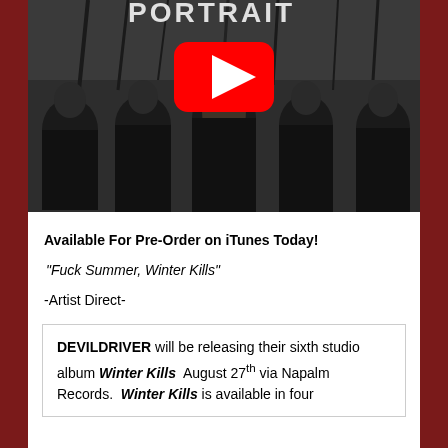[Figure (photo): Band photo of DevilDriver showing five members in black t-shirts against a winter forest background, with a YouTube play button overlay and partial text 'PORTRAIT' visible at top]
Available For Pre-Order on iTunes Today!
“Fuck Summer, Winter Kills”
-Artist Direct-
DEVILDRIVER will be releasing their sixth studio album Winter Kills August 27th via Napalm Records. Winter Kills is available in four